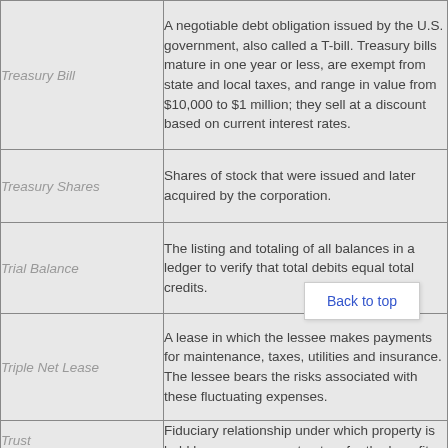| Term | Definition |
| --- | --- |
| Treasury Bill | A negotiable debt obligation issued by the U.S. government, also called a T-bill. Treasury bills mature in one year or less, are exempt from state and local taxes, and range in value from $10,000 to $1 million; they sell at a discount based on current interest rates. |
| Treasury Shares | Shares of stock that were issued and later acquired by the corporation. |
| Trial Balance | The listing and totaling of all balances in a ledger to verify that total debits equal total credits. |
| Triple Net Lease | A lease in which the lessee makes payments for maintenance, taxes, utilities and insurance. The lessee bears the risks associated with these fluctuating expenses. |
| Trust | Fiduciary relationship under which property is held by one person, a trustee, for the benefit ... |